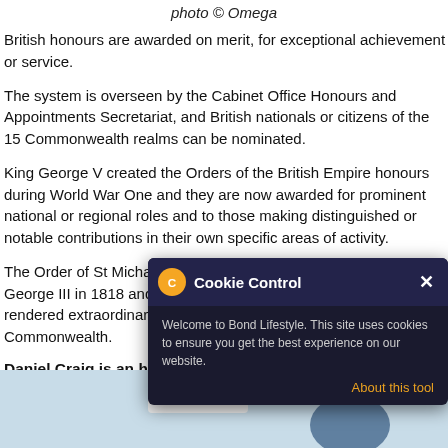photo © Omega
British honours are awarded on merit, for exceptional achievement or service.
The system is overseen by the Cabinet Office Honours and Appointments Secretariat, and British nationals or citizens of the 15 Commonwealth realms can be nominated.
King George V created the Orders of the British Empire honours during World War One and they are now awarded for prominent national or regional roles and to those making distinguished or notable contributions in their own specific areas of activity.
The Order of St Michael and St George was founded by King George III in 1818 and is awarded to British subjects who have rendered extraordinary and important services abroad or in the Commonwealth.
Daniel Craig is an honorary Commander in the Royal Navy
In September 2021, Daniel Craig was made an honorary Commander in the Royal Navy.